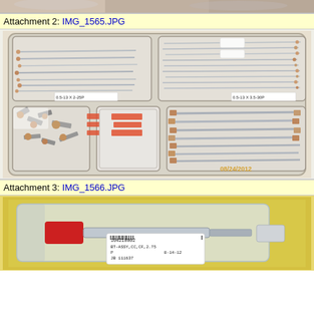[Figure (photo): Partial view of first attachment photo at top of page, cropped]
Attachment 2: IMG_1565.JPG
[Figure (photo): Photo of a plastic organizer tray containing various bolts, screws, and hardware fasteners sorted into compartments. Labels visible: 0.5-13 X 2-25P and 0.5-13 X 3.5-30P. Date stamp 08/24/2012.]
Attachment 3: IMG_1566.JPG
[Figure (photo): Photo of a packaged item in a clear plastic bag with a label reading 104210002, BT-ASSY,CC,CF,2.75, P, JB 111637, 8-14-12, placed in a yellow box.]